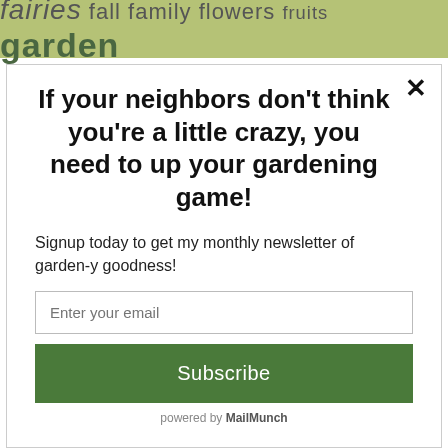fairies fall family flowers fruits garden
If your neighbors don't think you're a little crazy, you need to up your gardening game!
Signup today to get my monthly newsletter of garden-y goodness!
Enter your email
Subscribe
powered by MailMunch